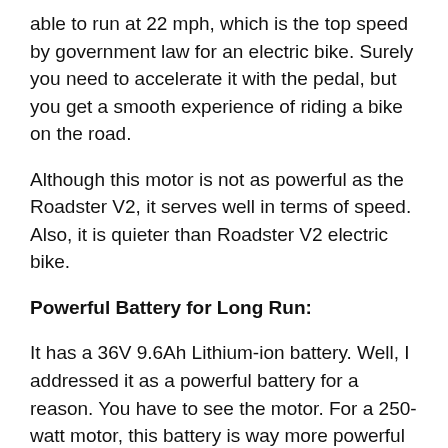able to run at 22 mph, which is the top speed by government law for an electric bike. Surely you need to accelerate it with the pedal, but you get a smooth experience of riding a bike on the road.
Although this motor is not as powerful as the Roadster V2, it serves well in terms of speed. Also, it is quieter than Roadster V2 electric bike.
Powerful Battery for Long Run:
It has a 36V 9.6Ah Lithium-ion battery. Well, I addressed it as a powerful battery for a reason. You have to see the motor. For a 250-watt motor, this battery is way more powerful to run for a long time.